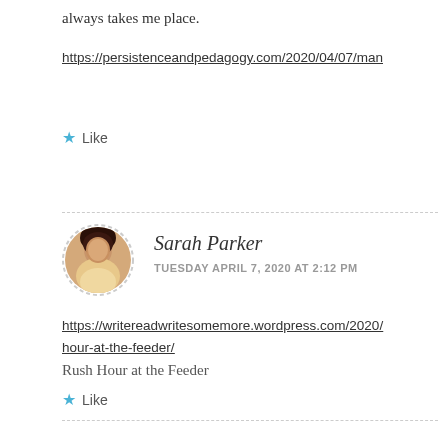always takes me place.
https://persistenceandpedagogy.com/2020/04/07/man
Like
Sarah Parker
TUESDAY APRIL 7, 2020 AT 2:12 PM
https://writereadwritesomemore.wordpress.com/2020/hour-at-the-feeder/
Rush Hour at the Feeder
Like